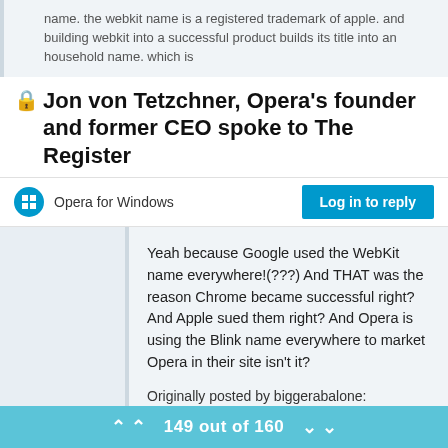name. the webkit name is a registered trademark of apple. and building webkit into a successful product builds its title into an household name. which is
🔒Jon von Tetzchner, Opera's founder and former CEO spoke to The Register
Opera for Windows
Log in to reply
Yeah because Google used the WebKit name everywhere!(???) And THAT was the reason Chrome became successful right? And Apple sued them right? And Opera is using the Blink name everywhere to market Opera in their site isn't it?
Originally posted by biggerabalone:
they will make radical changes to suit themselves and you will have to remake your browser once again
149 out of 160